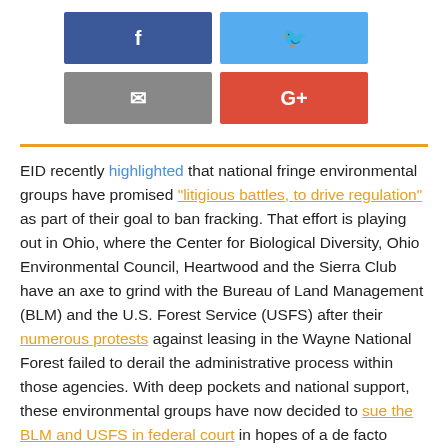[Figure (other): Social media share buttons: Facebook (blue), Twitter (light blue), Email (gray), Google+ (red)]
EID recently highlighted that national fringe environmental groups have promised "litigious battles, to drive regulation" as part of their goal to ban fracking. That effort is playing out in Ohio, where the Center for Biological Diversity, Ohio Environmental Council, Heartwood and the Sierra Club have an axe to grind with the Bureau of Land Management (BLM) and the U.S. Forest Service (USFS) after their numerous protests against leasing in the Wayne National Forest failed to derail the administrative process within those agencies. With deep pockets and national support, these environmental groups have now decided to sue the BLM and USFS in federal court in hopes of a de facto moratorium on fracking in the Wayne National Forest from the